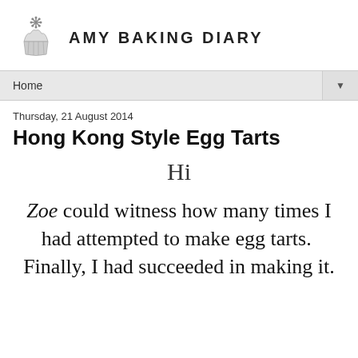Amy Baking Diary
Home
Thursday, 21 August 2014
Hong Kong Style Egg Tarts
Hi
Zoe could witness how many times I had attempted to make egg tarts.  Finally, I had succeeded in making it.